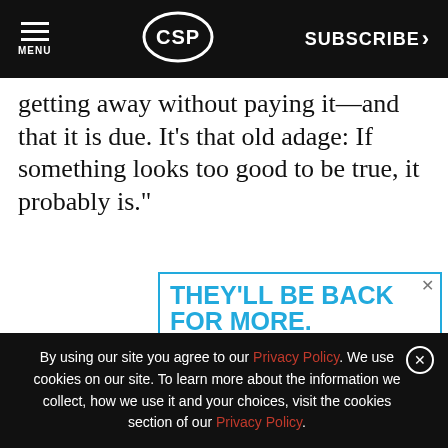MENU | CSP | SUBSCRIBE >
getting away without paying it—and that it is due. It's that old adage: If something looks too good to be true, it probably is."
[Figure (infographic): Advertisement banner: 'THEY'LL BE BACK FOR MORE.' in large blue text, with a sub-banner for a webinar 'Build a To-Go Experience with Appealing Displays' by ALTO-SHAAM]
By using our site you agree to our Privacy Policy. We use cookies on our site. To learn more about the information we collect, how we use it and your choices, visit the cookies section of our Privacy Policy.